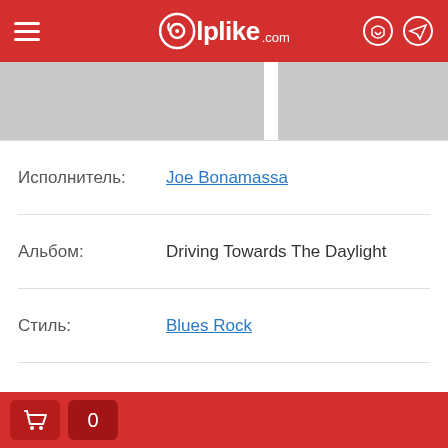elplike.com
[Figure (other): Two album cover thumbnails side by side (grey placeholders)]
| Исполнитель: | Joe Bonamassa |
| Альбом: | Driving Towards The Daylight |
| Стиль: | Blues Rock |
| Лейбл: | Provogue |
| Страна: | Europe |
| Тип: | Оригинальное издание |
| Год выхода: | 2014 |
Cart: 0